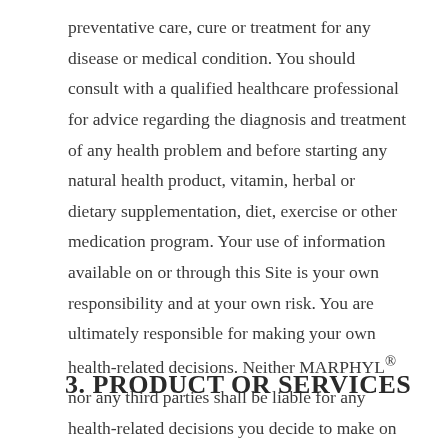preventative care, cure or treatment for any disease or medical condition. You should consult with a qualified healthcare professional for advice regarding the diagnosis and treatment of any health problem and before starting any natural health product, vitamin, herbal or dietary supplementation, diet, exercise or other medication program. Your use of information available on or through this Site is your own responsibility and at your own risk. You are ultimately responsible for making your own health-related decisions. Neither MARPHYL® nor any third parties shall be liable for any health-related decisions you decide to make on the basis of this information.
3. PRODUCT OR SERVICES